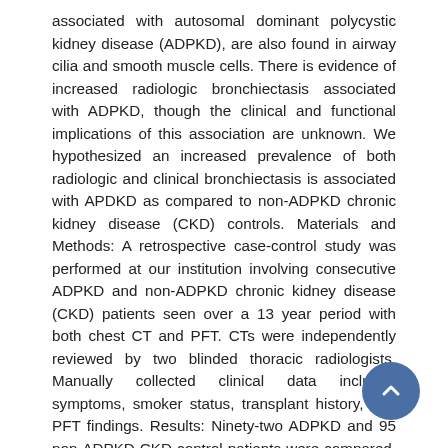associated with autosomal dominant polycystic kidney disease (ADPKD), are also found in airway cilia and smooth muscle cells. There is evidence of increased radiologic bronchiectasis associated with ADPKD, though the clinical and functional implications of this association are unknown. We hypothesized an increased prevalence of both radiologic and clinical bronchiectasis is associated with APDKD as compared to non-ADPKD chronic kidney disease (CKD) controls. Materials and Methods: A retrospective case-control study was performed at our institution involving consecutive ADPKD and non-ADPKD chronic kidney disease (CKD) patients seen over a 13 year period with both chest CT and PFT. CTs were independently reviewed by two blinded thoracic radiologists. Manually collected clinical data included symptoms, smoker status, transplant history, and PFT findings. Results: Ninety-two ADPKD and 95 non-ADPKD CKD control patients were compared. Increased prevalence of radiologic bronchiectasis, predominantly mild lower lobe disease, was found in ADPKD patients compared to CKD control (19 vs. 9%, P = 0.032, OR 2.49 (CI 1.1-5.8)). After adjustment for covariates, ADPKD was associated with increased risk of radiologic bronchiectasis (OR 2.78 (CI 1.16-7.12)). Symptomatic bronchiectasis occurred in approximately a third of ADPKD patients with radiologic disease. Smoking was associated with